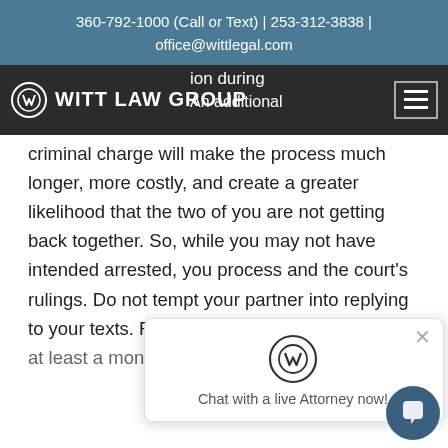360-792-1000 (Call or Text) | 253-312-3838 | office@wittlegal.com
WITT LAW GROUP
criminal charge will make the process much longer, more costly, and create a greater likelihood that the two of you are not getting back together. So, while you may not have intended arrested, you process and the court's rulings. Do not tempt your partner into replying to your texts. Realize you are on your own for at least a month or
[Figure (screenshot): Chat widget popup with Witt Law Group logo and text 'Chat with a live Attorney now!']